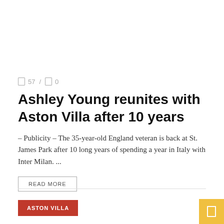57 / 0
Ashley Young reunites with Aston Villa after 10 years
– Publicity – The 35-year-old England veteran is back at St. James Park after 10 long years of spending a year in Italy with Inter Milan. ...
READ MORE
ASTON VILLA